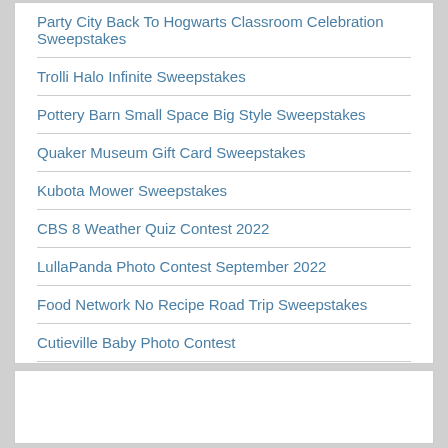Party City Back To Hogwarts Classroom Celebration Sweepstakes
Trolli Halo Infinite Sweepstakes
Pottery Barn Small Space Big Style Sweepstakes
Quaker Museum Gift Card Sweepstakes
Kubota Mower Sweepstakes
CBS 8 Weather Quiz Contest 2022
LullaPanda Photo Contest September 2022
Food Network No Recipe Road Trip Sweepstakes
Cutieville Baby Photo Contest
PCH FrontPage Instant Win Game Sweepstakes